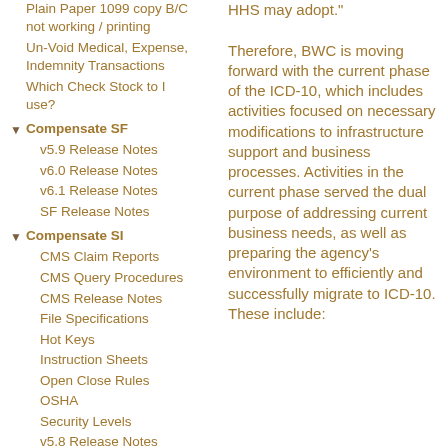Plain Paper 1099 copy B/C not working / printing
Un-Void Medical, Expense, Indemnity Transactions
Which Check Stock to I use?
Compensate SF
v5.9 Release Notes
v6.0 Release Notes
v6.1 Release Notes
SF Release Notes
Compensate SI
CMS Claim Reports
CMS Query Procedures
CMS Release Notes
File Specifications
Hot Keys
Instruction Sheets
Open Close Rules
OSHA
Security Levels
v5.8 Release Notes
v6.0 Release Notes
HHS may adopt."

Therefore, BWC is moving forward with the current phase of the ICD-10, which includes activities focused on necessary modifications to infrastructure support and business processes. Activities in the current phase served the dual purpose of addressing current business needs, as well as preparing the agency's environment to efficiently and successfully migrate to ICD-10. These include: